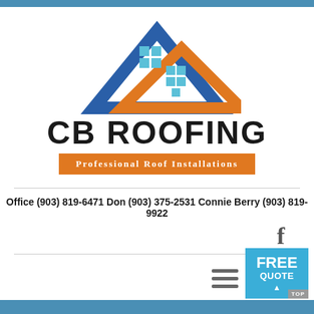[Figure (logo): CB Roofing logo with two house rooflines — one blue (larger, behind) and one orange (smaller, in front) — with teal window grid squares, followed by company name CB ROOFING in large bold black text and an orange banner reading Professional Roof Installations]
Office (903) 819-6471 Don (903) 375-2531 Connie Berry (903) 819-9922
[Figure (infographic): Facebook 'f' icon in gray]
[Figure (infographic): Hamburger menu icon (three horizontal lines)]
[Figure (infographic): Free Quote button in teal/blue with white bold text FREE QUOTE and a TOP label below]